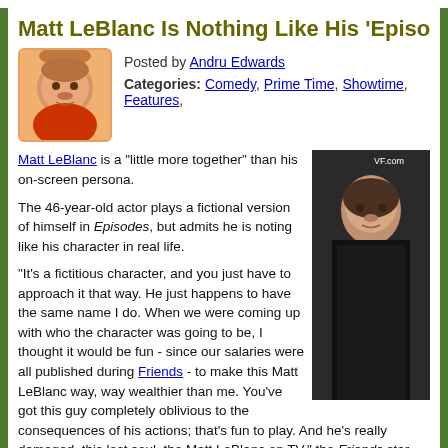Matt LeBlanc Is Nothing Like His 'Episodes' Cha…
Posted by Andru Edwards
Categories: Comedy, Prime Time, Showtime, Features,
Matt LeBlanc is a "little more together" than his on-screen persona.

The 46-year-old actor plays a fictional version of himself in Episodes, but admits he is noting like his character in real life.

"It's a fictitious character, and you just have to approach it that way. He just happens to have the same name I do. When we were coming up with who the character was going to be, I thought it would be fun - since our salaries were all published during Friends - to make this Matt LeBlanc way, way wealthier than me. You've got this guy completely oblivious to the consequences of his actions; that's fun to play. And he's really damaged, this lost soul, the Matt LeBlanc on TV," the Friends star said. But he added, "I like to think I have my s**t a little more together than that."

Matt, who has a 10-year-old daughter Marina with his ex-wife Mellissa McKnight, is glad he has regained some anonymity since Friends came to an end in 2004: "The weirdest thing was walking into a room, a restaurant, a bar, a movie theater,
[Figure (photo): Photo of Matt LeBlanc, a man in dark clothing]